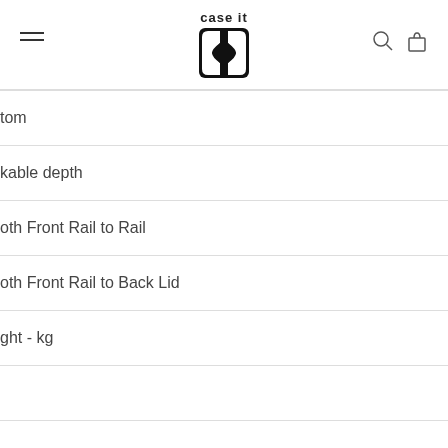case it (logo)
| tom |
| kable depth |
| oth Front Rail to Rail |
| oth Front Rail to Back Lid |
| ght - kg |
|  |